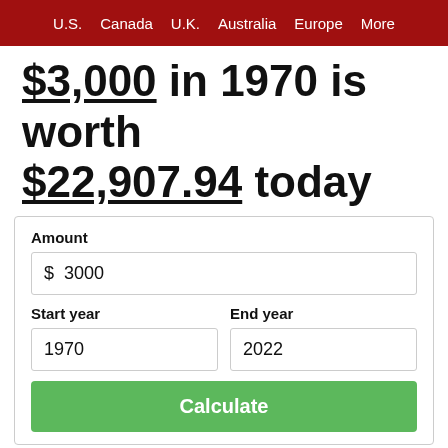U.S.   Canada   U.K.   Australia   Europe   More
$3,000 in 1970 is worth $22,907.94 today
Amount
$ 3000
Start year: 1970
End year: 2022
Calculate
$3,000 in 1975 → 2022   $3,000 in 1965 → 2022